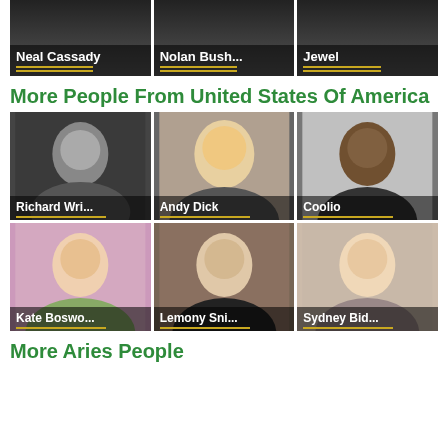[Figure (photo): Partial top row with Neal Cassady, Nolan Bush..., Jewel photo cards]
More People From United States Of America
[Figure (photo): Richard Wri... photo card]
[Figure (photo): Andy Dick photo card]
[Figure (photo): Coolio photo card]
[Figure (photo): Kate Boswo... photo card]
[Figure (photo): Lemony Sni... photo card]
[Figure (photo): Sydney Bid... photo card]
More Aries People